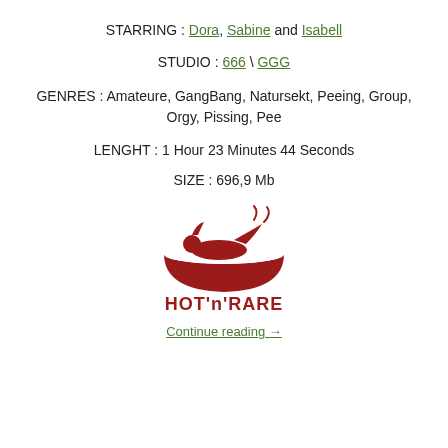STARRING : Dora, Sabine and Isabell
STUDIO : 666 \ GGG
GENRES : Amateure, GangBang, Natursekt, Peeing, Group, Orgy, Pissing, Pee
LENGHT : 1 Hour 23 Minutes 44 Seconds
SIZE : 696,9 Mb
[Figure (logo): HOT'n'RARE logo: dark red illustration of a person lying in a bowl/dish with steam, above bold red text HOT'n'RARE]
Continue reading →